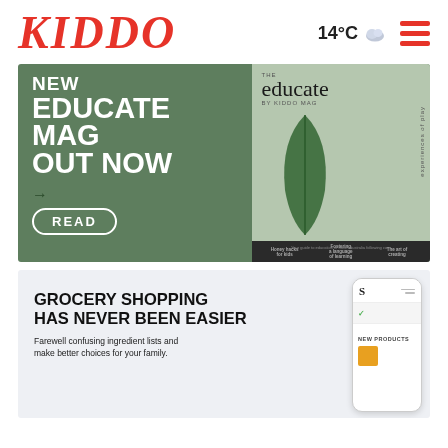KIDDO | 14°C ☁ ☰
[Figure (illustration): Advertisement banner for EDUCATE MAG by KIDDO MAC — green background with bold white text reading NEW EDUCATE MAG OUT NOW, with a READ button and arrow, and a magazine cover on the right showing a leaf on a grey-green background with the title educate.]
[Figure (illustration): Advertisement banner with light grey background showing GROCERY SHOPPING HAS NEVER BEEN EASIER in bold uppercase text, subtext 'Farewell confusing ingredient lists and make better choices for your family.', and a phone mockup on the right showing an app with NEW PRODUCTS section.]
Farewell confusing ingredient lists and make better choices for your family.